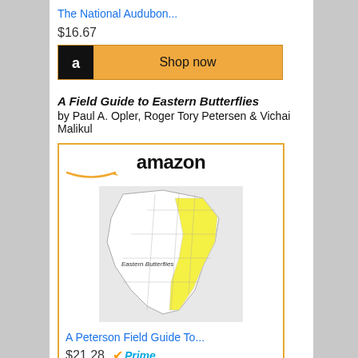The National Audubon...
$16.67
[Figure (other): Amazon Shop now button with black Amazon 'a' logo icon on gold/yellow background]
A Field Guide to Eastern Butterflies by Paul A. Opler, Roger Tory Petersen & Vichai Malikul
[Figure (other): Amazon product card showing a book cover with map of North America with eastern region highlighted in yellow, Amazon logo at top, book title 'A Peterson Field Guide To...' price $21.28 with Prime badge, and Shop now button]
A Peterson Field Guide To...
$21.28
[Figure (other): Amazon Shop now button with black Amazon 'a' logo icon on gold/yellow background]